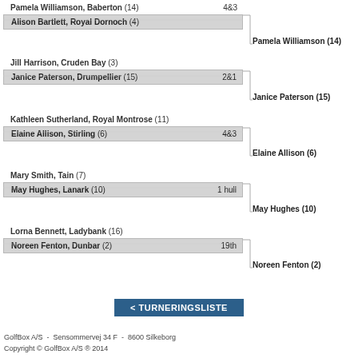[Figure (other): Tournament bracket showing golf match play results with player names, clubs, handicaps, and scores across two rounds]
Pamela Williamson, Baberton (14) - 4&3
Alison Bartlett, Royal Dornoch (4)
Pamela Williamson (14)
Jill Harrison, Cruden Bay (3)
Janice Paterson, Drumpellier (15) - 2&1
Janice Paterson (15)
Kathleen Sutherland, Royal Montrose (11)
Elaine Allison, Stirling (6) - 4&3
Elaine Allison (6)
Mary Smith, Tain (7)
May Hughes, Lanark (10) - 1 hull
May Hughes (10)
Lorna Bennett, Ladybank (16)
Noreen Fenton, Dunbar (2) - 19th
Noreen Fenton (2)
< TURNERINGSLISTE
GolfBox A/S  -  Sensommervej 34 F  -  8600 Silkeborg
Copyright © GolfBox A/S ® 2014